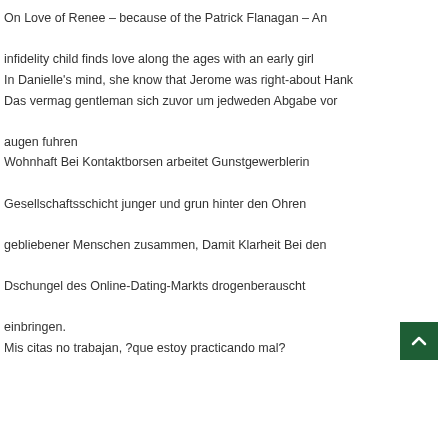On Love of Renee – because of the Patrick Flanagan – An infidelity child finds love along the ages with an early girl In Danielle's mind, she know that Jerome was right-about Hank Das vermag gentleman sich zuvor um jedweden Abgabe vor augen fuhren Wohnhaft Bei Kontaktborsen arbeitet Gunstgewerblerin Gesellschaftsschicht junger und grun hinter den Ohren gebliebener Menschen zusammen, Damit Klarheit Bei den Dschungel des Online-Dating-Markts drogenberauscht einbringen. Mis citas no trabajan, ?que estoy practicando mal?